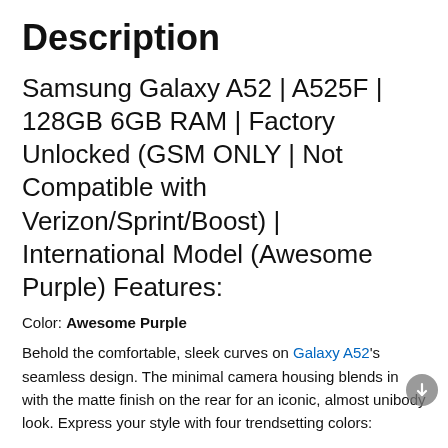Description
Samsung Galaxy A52 | A525F | 128GB 6GB RAM | Factory Unlocked (GSM ONLY | Not Compatible with Verizon/Sprint/Boost) | International Model (Awesome Purple) Features:
Color: Awesome Purple
Behold the comfortable, sleek curves on Galaxy A52's seamless design. The minimal camera housing blends in with the matte finish on the rear for an iconic, almost unibody look. Express your style with four trendsetting colors: